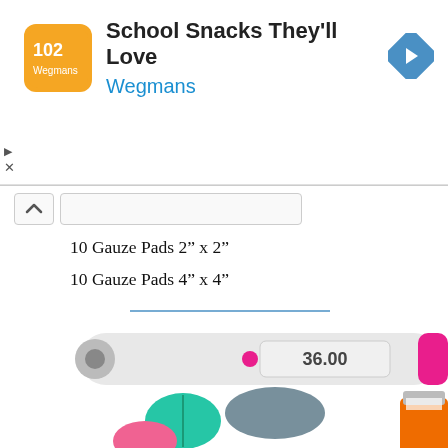[Figure (infographic): Wegmans ad banner with logo showing '102' text, title 'School Snacks They'll Love', subtitle 'Wegmans', and a blue navigation arrow icon on the right. Play and X buttons on left side.]
10 Gauze Pads 2” x 2”
10 Gauze Pads 4” x 4”
1 Roll Gauze 2” x 4yds.
2 Roll Gauze 4” x 4yds.
2 Combine Pads 5” x 9”
1 Multi-Trauma Dressings
25 BZK Towelettes
4 Iodine Swab Sticks
[Figure (illustration): Medical items illustration: a digital thermometer showing 36.00, pink and magenta accents, teal and gray oval pills/tablets, a white first aid tube with red cross symbol, and partial view of an orange medicine bottle.]